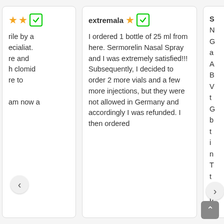rile by a ecialiat. re and h clomid re to am now a
extremala — I ordered 1 bottle of 25 ml from here. Sermorelin Nasal Spray and I was extremely satisfied!!! Subsequently, I decided to order 2 more vials and a few more injections, but they were not allowed in Germany and accordingly I was refunded. I then ordered
S N G a A B V t C b t i n T t s p r